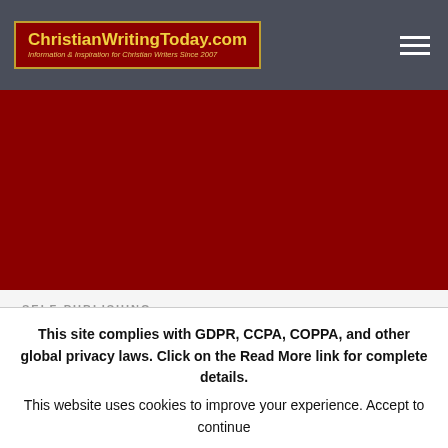ChristianWritingToday.com — Information & Inspiration for Christian Writers Since 2007
[Figure (other): Dark red banner image area]
SELF-PUBLISHING
The Best Places to Sell Your
This site complies with GDPR, CCPA, COPPA, and other global privacy laws. Click on the Read More link for complete details. This website uses cookies to improve your experience. Accept to continue or Read More